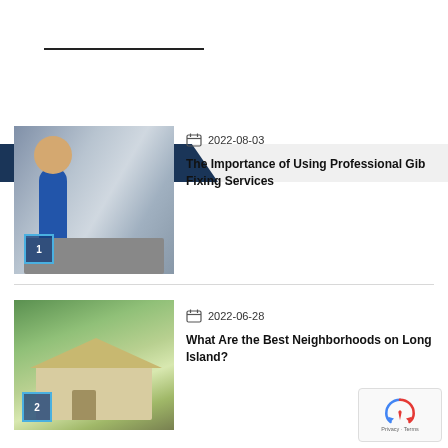[Figure (other): Search bar with horizontal line]
RECENT POSTS
[Figure (photo): Worker in blue shirt doing plumbing/fixing work at a sink, numbered badge 1]
2022-08-03
The Importance of Using Professional Gib Fixing Services
[Figure (photo): Suburban house with trees and driveway, numbered badge 2]
2022-06-28
What Are the Best Neighborhoods on Long Island?
[Figure (logo): reCAPTCHA badge with Privacy and Terms links]